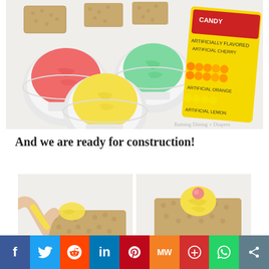[Figure (photo): Photo of three bowls of colored frosting (red, green, yellow), rice crispy treat squares, and a yellow package of Candy Spots (artificially flavored - artificial cherry, artificial orange, artificial lemon) on a white surface.]
And we are ready for construction!
[Figure (photo): Two side-by-side photos showing the construction process: left photo shows a hand piping yellow frosting onto a rice crispy treat; right photo shows a rice crispy treat with a swirl of yellow frosting and a pink candy dot on top.]
f  Twitter  Reddit  in  Pinterest  MW  Mix  WhatsApp  Share